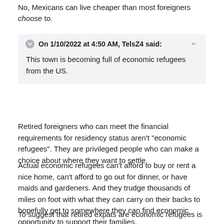No, Mexicans can live cheaper than most foreigners choose to.
On 1/10/2022 at 4:50 AM, TelsZ4 said:

This town is becoming full of economic refugees from the US.
Retired foreigners who can meet the financial requirements for residency status aren't "economic refugees". They are privileged people who can make a choice about where they want to settle.
Actual economic refugees can't afford to buy or rent a nice home, can't afford to go out for dinner, or have maids and gardeners. And they trudge thousands of miles on foot with what they can carry on their backs to hopefully get to somewhere they can find economic opportunity to support their families.
To suggest that retired expats are economic refugees is absurd.